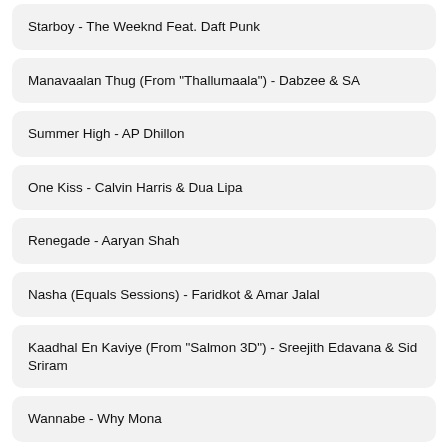Starboy - The Weeknd Feat. Daft Punk
Manavaalan Thug (From "Thallumaala") - Dabzee & SA
Summer High - AP Dhillon
One Kiss - Calvin Harris & Dua Lipa
Renegade - Aaryan Shah
Nasha (Equals Sessions) - Faridkot & Amar Jalal
Kaadhal En Kaviye (From "Salmon 3D") - Sreejith Edavana & Sid Sriram
Wannabe - Why Mona
Megham Karukatha (From "Thiruchitrambalam") - Dhanush & Anirudh R...
Kala Chashma (From "Baar Baar Dekho") - Amar Arshi, Badshah & Neh...